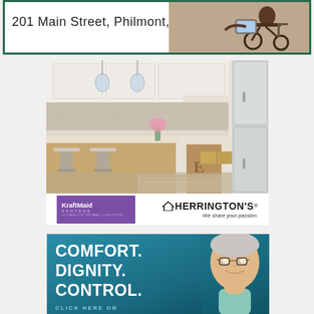[Figure (photo): Advertisement banner with text '201 Main Street, Philmont, NY' on white background with green border, and a photo of a person with a wheelchair on the right side]
[Figure (photo): Herrington's kitchen advertisement showing a beautiful white and wood kitchen with bar stools, pendant lights, and KraftMaid Vantage and Herrington's logos with tagline 'We share your passion.']
[Figure (photo): Advertisement with teal/blue background showing bold white text 'COMFORT. DIGNITY. CONTROL.' with 'CLICK HERE OR' partially visible, and an elderly woman with glasses on the right side]